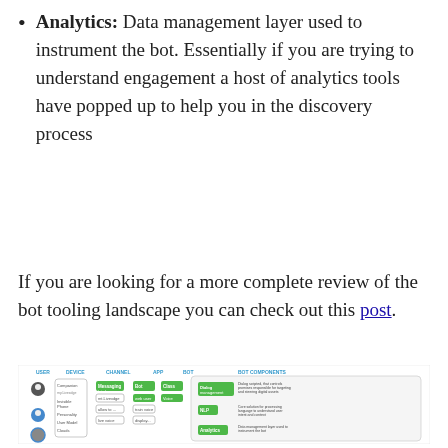Analytics: Data management layer used to instrument the bot. Essentially if you are trying to understand engagement a host of analytics tools have popped up to help you in the discovery process
If you are looking for a more complete review of the bot tooling landscape you can check out this post.
[Figure (infographic): Diagram showing bot architecture components: USER, DEVICE, CHANNEL, APP, BOT, BOT COMPONENTS columns. Includes Dialog Management, NLP, Analytics components with descriptions.]